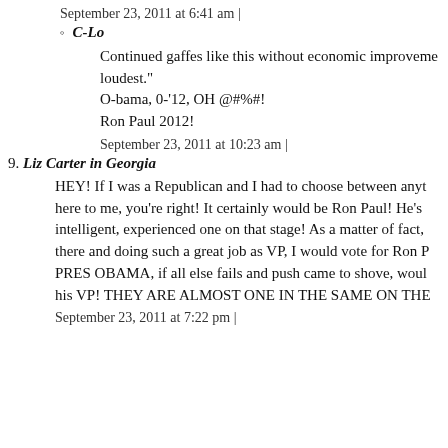September 23, 2011 at 6:41 am |
C-Lo
Continued gaffes like this without economic improvement... loudest."
O-bama, 0-'12, OH @#%#!
Ron Paul 2012!
September 23, 2011 at 10:23 am |
9. Liz Carter in Georgia
HEY! If I was a Republican and I had to choose between anyt... here to me, you're right! It certainly would be Ron Paul! He's intelligent, experienced one on that stage! As a matter of fact, there and doing such a great job as VP, I would vote for Ron P... PRES OBAMA, if all else fails and push came to shove, woul... his VP! THEY ARE ALMOST ONE IN THE SAME ON THE
September 23, 2011 at 7:22 pm |